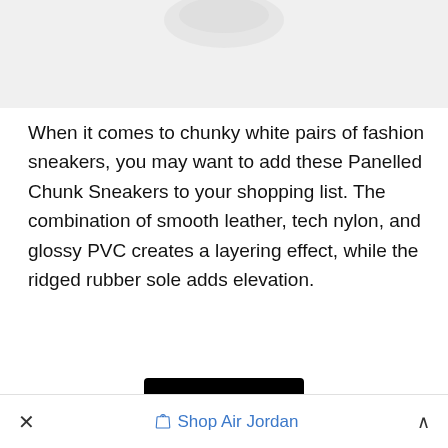[Figure (photo): Partial image of white chunky sneakers on a light gray background, cropped at the top]
When it comes to chunky white pairs of fashion sneakers, you may want to add these Panelled Chunk Sneakers to your shopping list. The combination of smooth leather, tech nylon, and glossy PVC creates a layering effect, while the ridged rubber sole adds elevation.
[Figure (other): Black button/banner partially visible at bottom of content area]
× Shop Air Jordan ^